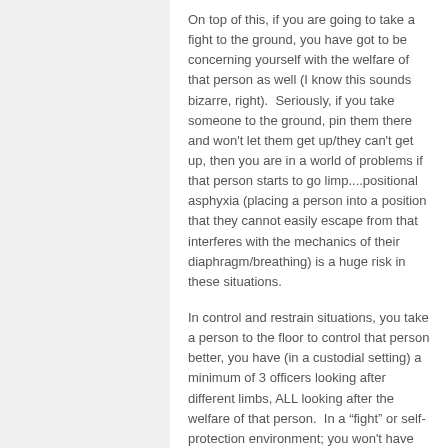On top of this, if you are going to take a fight to the ground, you have got to be concerning yourself with the welfare of that person as well (I know this sounds bizarre, right).  Seriously, if you take someone to the ground, pin them there and won't let them get up/they can't get up, then you are in a world of problems if that person starts to go limp....positional asphyxia (placing a person into a position that they cannot easily escape from that interferes with the mechanics of their diaphragm/breathing) is a huge risk in these situations.
In control and restrain situations, you take a person to the floor to control that person better, you have (in a custodial setting) a minimum of 3 officers looking after different limbs, ALL looking after the welfare of that person.  In a "fight" or self-protection environment; you won't have this luxury, generally you are on your own.  If the person you are trying to restrain on the floor starts to have breathing difficulties, what do you do?  You don't let him up right?  In case the person is faking it and goes...